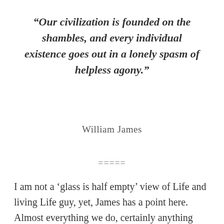“Our civilization is founded on the shambles, and every individual existence goes out in a lonely spasm of helpless agony.”
William James
=====
I am not a ‘glass is half empty’ view of Life and living Life guy, yet, James has a point here. Almost everything we do, certainly anything good, is built on the shambles of